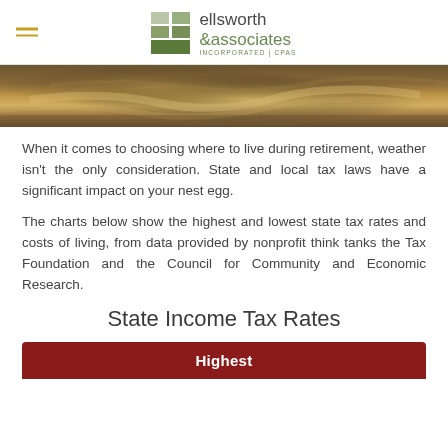ellsworth & associates INCORPORATED | CPAs
[Figure (photo): Close-up photo of ocean waves on sand at golden hour, showing sandy beach texture with water and warm golden light reflections.]
When it comes to choosing where to live during retirement, weather isn't the only consideration. State and local tax laws have a significant impact on your nest egg.
The charts below show the highest and lowest state tax rates and costs of living, from data provided by nonprofit think tanks the Tax Foundation and the Council for Community and Economic Research.
State Income Tax Rates
| Highest |
| --- |